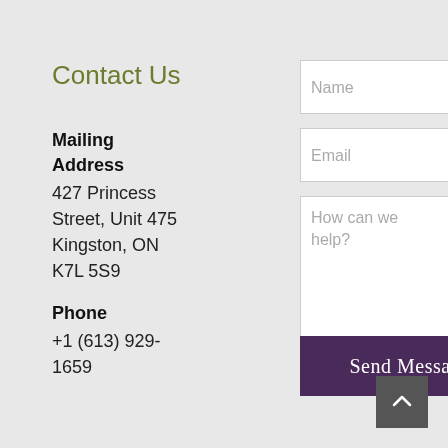Contact Us
Mailing Address
427 Princess Street, Unit 475 Kingston, ON K7L 5S9
Phone
+1 (613) 929-1659
[Figure (screenshot): Contact form with Name input, Email input, How can we help? textarea, and Send Message button]
[Figure (other): Scroll to top button with upward chevron arrow]